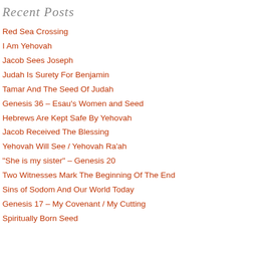Recent Posts
Red Sea Crossing
I Am Yehovah
Jacob Sees Joseph
Judah Is Surety For Benjamin
Tamar And The Seed Of Judah
Genesis 36 – Esau's Women and Seed
Hebrews Are Kept Safe By Yehovah
Jacob Received The Blessing
Yehovah Will See / Yehovah Ra'ah
“She is my sister” – Genesis 20
Two Witnesses Mark The Beginning Of The End
Sins of Sodom And Our World Today
Genesis 17 – My Covenant / My Cutting
Spiritually Born Seed